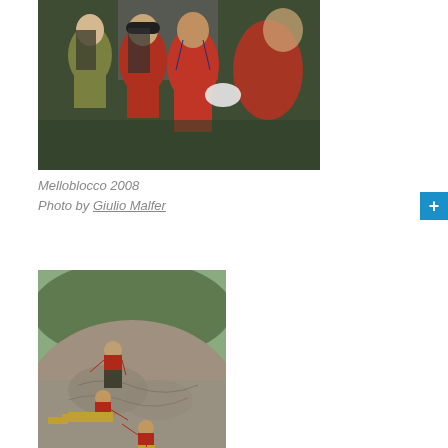[Figure (photo): Group of people wearing red shirts and backpacks, appearing to be climbers or hikers gathered together, photographed close-up]
Melloblocco 2008
Photo by Giulio Malfer
[Figure (photo): Two people on a large rock face, one climbing up and one lying flat pulling the other, in an outdoor mountain/boulder setting]